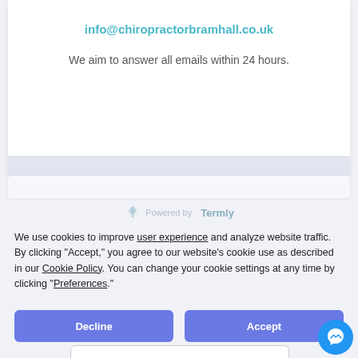info@chiropractorbramhall.co.uk
We aim to answer all emails within 24 hours.
[Figure (logo): Powered by Termly logo with globe icon]
We use cookies to improve user experience and analyze website traffic. By clicking “Accept,” you agree to our website’s cookie use as described in our Cookie Policy. You can change your cookie settings at any time by clicking “Preferences.”
Decline
Accept
Preferences